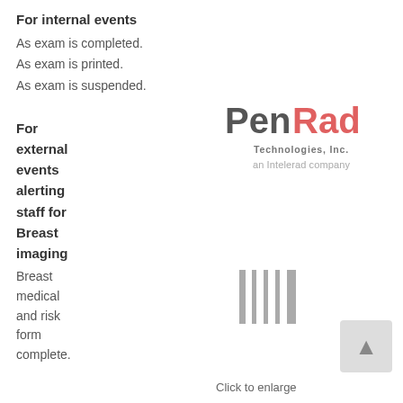For internal events
As exam is completed.
As exam is printed.
As exam is suspended.
For external events alerting staff for Breast imaging
Breast medical and risk form complete.
[Figure (logo): PenRad Technologies, Inc. logo — 'Pen' in dark gray bold, 'Rad' in red/salmon bold, 'Technologies, Inc.' below in gray, 'an Intelerad company' below in light gray]
[Figure (other): Barcode-like vertical bars graphic]
Click to enlarge